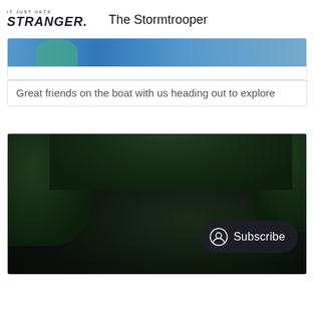IT JUST GETS STRANGER. The Stormtrooper
[Figure (photo): Partial top of a photo showing blue water/sky and green shapes — people on a boat, cropped at top]
Great friends on the boat with us heading out to explore
[Figure (photo): Dark photo showing foliage/trees in background with a dark Subscribe button overlay in lower right corner]